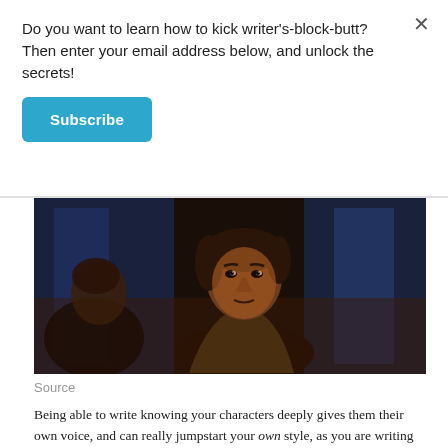Do you want to learn how to kick writer's-block-butt? Then enter your email address below, and unlock the secrets!
Subscribe
[Figure (photo): A young man with dark hair in dim blue and orange lighting, looking intensely at the camera. A movie still.]
Source
Being able to write knowing your characters deeply gives them their own voice, and can really jumpstart your own style, as you are writing you into your own story.